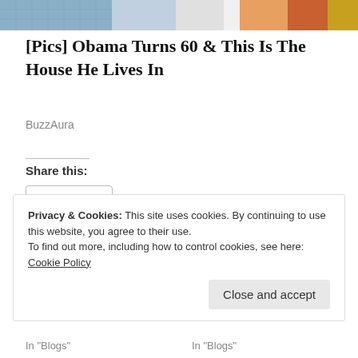[Figure (photo): Cropped top portion of an image showing two people, one in a blue jersey and another in a white/blue outfit]
[Pics] Obama Turns 60 & This Is The House He Lives In
BuzzAura
Share this:
Share
Loading...
Privacy & Cookies: This site uses cookies. By continuing to use this website, you agree to their use.
To find out more, including how to control cookies, see here: Cookie Policy
Close and accept
In "Blogs"
In "Blogs"